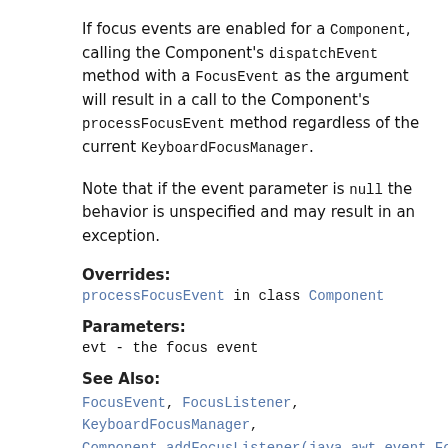If focus events are enabled for a Component, calling the Component's dispatchEvent method with a FocusEvent as the argument will result in a call to the Component's processFocusEvent method regardless of the current KeyboardFocusManager.
Note that if the event parameter is null the behavior is unspecified and may result in an exception.
Overrides:
processFocusEvent in class Component
Parameters:
evt - the focus event
See Also:
FocusEvent, FocusListener, KeyboardFocusManager, Component.addFocusListener(java.awt.event.FocusListener), Component.enableEvents(long), Component.dispatchEvent(java.awt.AWTEvent)